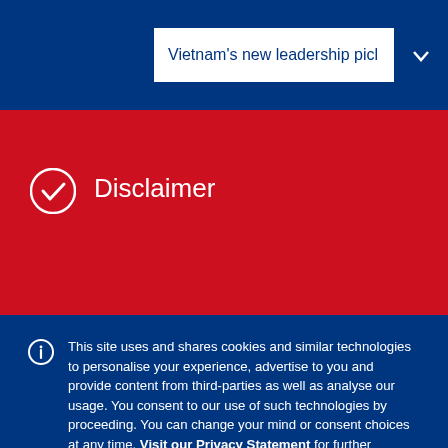Vietnam's new leadership picl
Disclaimer
This site uses and shares cookies and similar technologies to personalise your experience, advertise to you and provide content from third-parties as well as analyse our usage. You consent to our use of such technologies by proceeding. You can change your mind or consent choices at any time. Visit our Privacy Statement for further information.
Accept cookies
Cookie Preferences